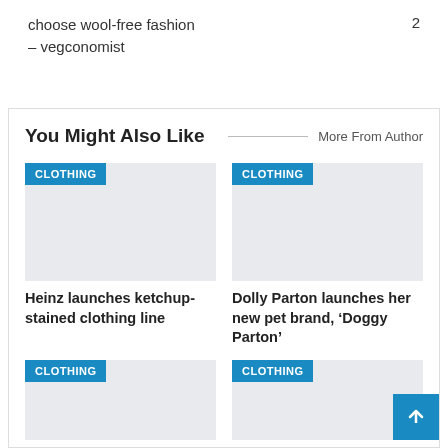choose wool-free fashion – vegconomist
2
You Might Also Like
More From Author
[Figure (photo): Clothing article image placeholder - gray rectangle with CLOTHING badge]
Heinz launches ketchup-stained clothing line
[Figure (photo): Clothing article image placeholder - gray rectangle with CLOTHING badge]
Dolly Parton launches her new pet brand, ‘Doggy Parton’
[Figure (photo): Clothing article image placeholder - gray rectangle with CLOTHING badge]
[Figure (photo): Clothing article image placeholder - gray rectangle with CLOTHING badge]